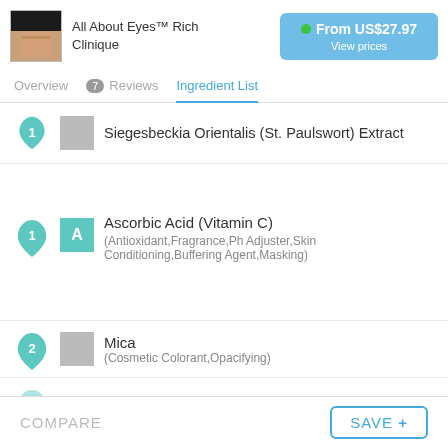All About Eyes™ Rich Clinique — From US$27.97 View prices
Ingredient List
1 Siegesbeckia Orientalis (St. Paulswort) Extract
1 A Ascorbic Acid (Vitamin C) (Antioxidant,Fragrance,Ph Adjuster,Skin Conditioning,Buffering Agent,Masking)
2 Mica (Cosmetic Colorant,Opacifying)
Iron Oxides
COMPARE   SAVE +